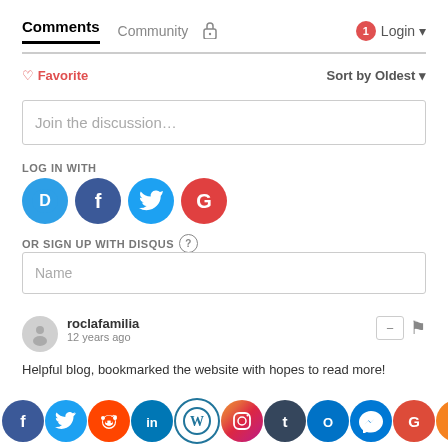Comments  Community  🔒  1  Login
♡ Favorite    Sort by Oldest
Join the discussion…
LOG IN WITH
[Figure (illustration): Social login icons: Disqus (D), Facebook (f), Twitter bird, Google (G)]
OR SIGN UP WITH DISQUS ?
Name
roclafamilia
12 years ago
Helpful blog, bookmarked the website with hopes to read more!
[Figure (illustration): Bottom social sharing bar with icons: Facebook, Twitter, Reddit, LinkedIn, WordPress, Instagram, Tumblr, Outlook, Messenger, Google, Share]